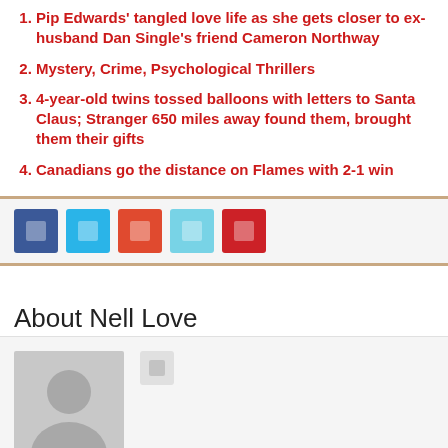Pip Edwards' tangled love life as she gets closer to ex-husband Dan Single's friend Cameron Northway
Mystery, Crime, Psychological Thrillers
4-year-old twins tossed balloons with letters to Santa Claus; Stranger 650 miles away found them, brought them their gifts
Canadians go the distance on Flames with 2-1 win
[Figure (infographic): Row of five social share buttons: Facebook (dark blue), Twitter (light blue), Google+ (orange-red), LinkedIn (light blue/teal), Pinterest (red)]
About Nell Love
[Figure (photo): Generic grey avatar/profile placeholder image of a person silhouette, with a small grey social button beside it]
Previous